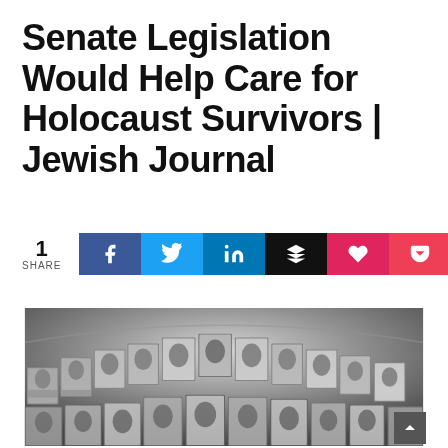Senate Legislation Would Help Care for Holocaust Survivors | Jewish Journal
[Figure (infographic): Social share bar showing count of 1 share, with buttons for Facebook, Twitter, LinkedIn, Buffer, Like (heart), and Pocket]
[Figure (photo): Black and white photograph showing curved walls covered in portrait photographs of Holocaust victims at a memorial (Yad Vashem Hall of Names)]